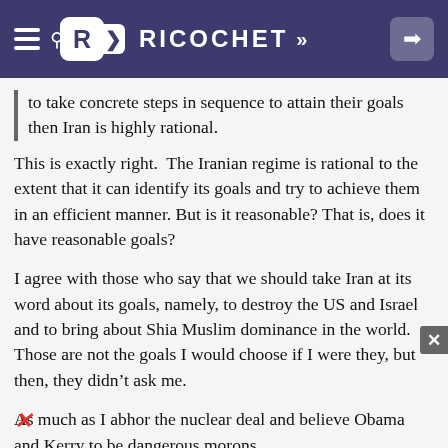RICOCHET
to take concrete steps in sequence to attain their goals then Iran is highly rational.
This is exactly right. The Iranian regime is rational to the extent that it can identify its goals and try to achieve them in an efficient manner. But is it reasonable? That is, does it have reasonable goals?
I agree with those who say that we should take Iran at its word about its goals, namely, to destroy the US and Israel and to bring about Shia Muslim dominance in the world. Those are not the goals I would choose if I were they, but then, they didn't ask me.
As much as I abhor the nuclear deal and believe Obama and Kerry to be dangerous morons, my fear of Iran having nuclear weapons is tempered